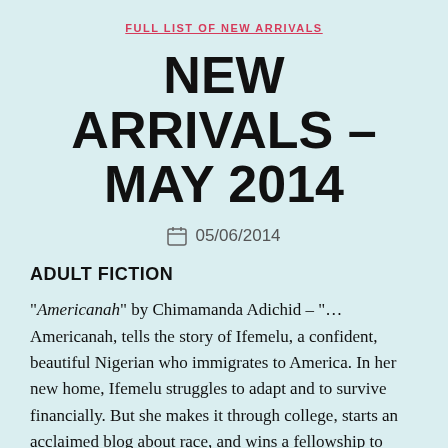FULL LIST OF NEW ARRIVALS
NEW ARRIVALS – MAY 2014
05/06/2014
ADULT FICTION
"Americanah" by Chimamanda Adichid – "… Americanah, tells the story of Ifemelu, a confident, beautiful Nigerian who immigrates to America. In her new home, Ifemelu struggles to adapt and to survive financially. But she makes it through college, starts an acclaimed blog about race, and wins a fellowship to Princeton. All the while she's haunted by memories of